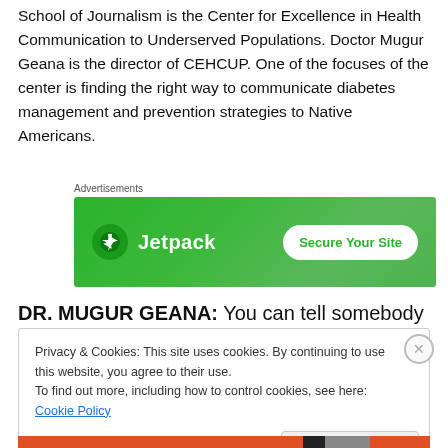School of Journalism is the Center for Excellence in Health Communication to Underserved Populations. Doctor Mugur Geana is the director of CEHCUP. One of the focuses of the center is finding the right way to communicate diabetes management and prevention strategies to Native Americans.
Advertisements
[Figure (other): Jetpack advertisement banner with green background, Jetpack logo on the left and 'Secure Your Site' button on the right]
DR. MUGUR GEANA: You can tell somebody to do
Privacy & Cookies: This site uses cookies. By continuing to use this website, you agree to their use.
To find out more, including how to control cookies, see here: Cookie Policy
Close and accept